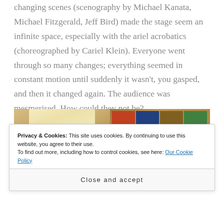changing scenes (scenography by Michael Kanata, Michael Fitzgerald, Jeff Bird) made the stage seem an infinite space, especially with the ariel acrobatics (choreographed by Cariel Klein). Everyone went through so many changes; everything seemed in constant motion until suddenly it wasn't, you gasped, and then it changed again. The audience was mesmerised. How could they not be?
[Figure (photo): Two side-by-side photos: left shows a yellow patterned curtain/drape hanging against a wooden plank wall; right shows an art gallery wall with many framed photographs or artworks arranged in rows on wooden shelving.]
Privacy & Cookies: This site uses cookies. By continuing to use this website, you agree to their use.
To find out more, including how to control cookies, see here: Our Cookie Policy
Close and accept